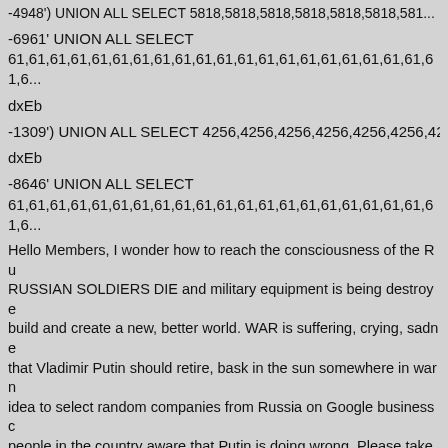-4948') UNION ALL SELECT 5818,5818,5818,5818,5818,5818,5818...
-6961' UNION ALL SELECT
61,61,61,61,61,61,61,61,61,61,61,61,61,61,61,61,61,61,61,61,61,6...
dxEb
-1309') UNION ALL SELECT 4256,4256,4256,4256,4256,4256,4256...
dxEb
-8646' UNION ALL SELECT
61,61,61,61,61,61,61,61,61,61,61,61,61,61,61,61,61,61,61,61,6...
Hello Members, I wonder how to reach the consciousness of the Ru... RUSSIAN SOLDIERS DIE and military equipment is being destroye... build and create a new, better world. WAR is suffering, crying, sadne... that Vladimir Putin should retire, bask in the sun somewhere in warn... idea to select random companies from Russia on Google business c... people in the country aware that Putin is doing wrong. Please take a... and add your opinion about anti-war content. It is also worth informin... because Russia is blocking a lot of content on the Internet and sowi... information Peace be with you! Thank you Tomasz Jerzy Michalxc5\
-2185') UNION ALL SELECT 9244,9244,9244,9244,9244,9244,9244...
-1455' UNION ALL SELECT